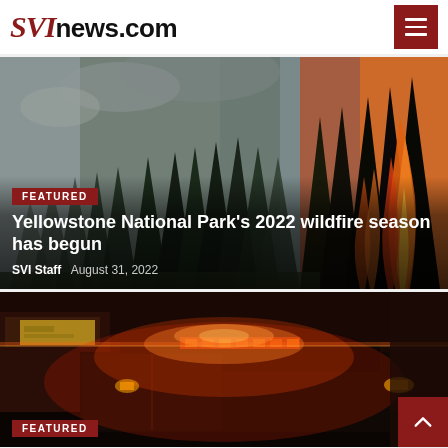SVInews.com
[Figure (photo): Forest wildfire scene with burning trees and smoke, used as hero image for featured article]
FEATURED
Yellowstone National Park's 2022 wildfire season has begun
SVI Staff   August 31, 2022
[Figure (photo): Ambulance with red and orange flashing lights at night, used as hero image for second featured article]
FEATURED